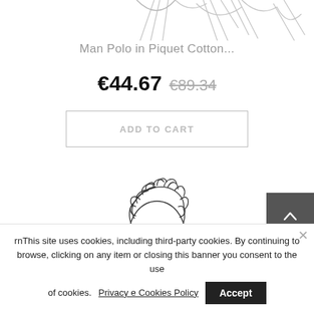[Figure (illustration): Partial illustration of a man polo shirt fashion sketch, cropped at top]
Man Polo in Piquet Cotton...
€44.67 €89.34
ADD TO CART
[Figure (illustration): Sketch illustration of a man's head with curly hair, partial torso visible]
rnThis site uses cookies, including third-party cookies. By continuing to browse, clicking on any item or closing this banner you consent to the use of cookies. Privacy e Cookies Policy Accept